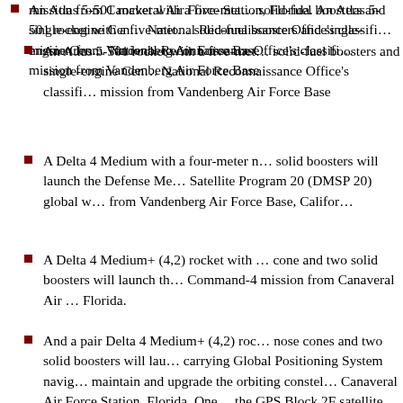An Atlas 5-501 rocket with a five-meter solid-fuel boosters and single-engine Centaur National Reconnaissance Office's classified mission from Vandenberg Air Force Base
A Delta 4 Medium with a four-meter nose cone and solid boosters will launch the Defense Meteorological Satellite Program 20 (DMSP 20) global weather satellite from Vandenberg Air Force Base, California
A Delta 4 Medium+ (4,2) rocket with a four-meter cone and two solid boosters will launch the Wideband Global Command-4 mission from Canaveral Air Force Station, Florida.
And a pair Delta 4 Medium+ (4,2) rockets with four-meter nose cones and two solid boosters will launch satellites carrying Global Positioning System navigation payloads to maintain and upgrade the orbiting constellation from Canaveral Air Force Station, Florida. One mission is for the GPS Block 2F satellite program and the other will carry either 2F or the future GPS 3 series.